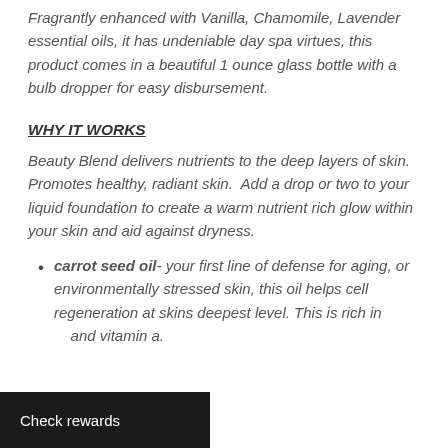Fragrantly enhanced with Vanilla, Chamomile, Lavender essential oils, it has undeniable day spa virtues, this product comes in a beautiful 1 ounce glass bottle with a bulb dropper for easy disbursement.
WHY IT WORKS
Beauty Blend delivers nutrients to the deep layers of skin. Promotes healthy, radiant skin.  Add a drop or two to your liquid foundation to create a warm nutrient rich glow within your skin and aid against dryness.
carrot seed oil- your first line of defense for aging, or environmentally stressed skin, this oil helps cell regeneration at skins deepest level. This is rich in and vitamin a.